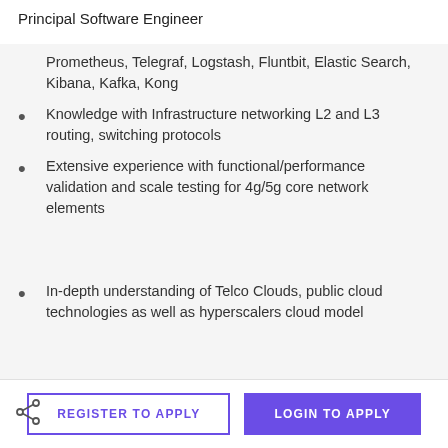Principal Software Engineer
Prometheus, Telegraf, Logstash, Fluntbit, Elastic Search, Kibana, Kafka, Kong
Knowledge with Infrastructure networking L2 and L3 routing, switching protocols
Extensive experience with functional/performance validation and scale testing for 4g/5g core network elements
In-depth understanding of Telco Clouds, public cloud technologies as well as hyperscalers cloud model